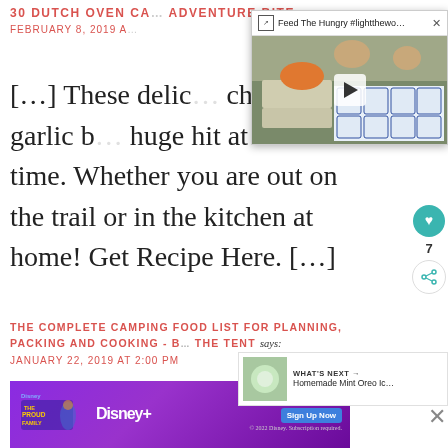30 DUTCH OVEN CA... ADVENTURE BITE says: FEBRUARY 8, 2019 A...
[Figure (screenshot): Video overlay popup titled 'Feed The Hungry #lightthewo...' showing a photo of a car trunk filled with milk jugs and egg cartons, with children visible. Has a play button overlay. Header bar with external link icon and close X button.]
[…] These delic... cheesy garlic b... huge hit at snack time. Whether you are out on the trail or in the kitchen at home! Get Recipe Here. […]
[Figure (infographic): Social sidebar with teal heart button, like count of 7, and share button]
THE COMPLETE CAMPING FOOD LIST FOR PLANNING, PACKING AND COOKING - BY... THE TENT says: JANUARY 22, 2019 AT 2:00 PM
[Figure (screenshot): What's Next panel showing a thumbnail of what appears to be mint oreo ice cream and text 'WHAT'S NEXT → Homemade Mint Oreo Ic...']
[Figure (screenshot): Bottom advertisement for Disney+ featuring The Proud Family show, with 'Now stream', 'Sign Up Now' button, and Disney+ logo on purple gradient background]